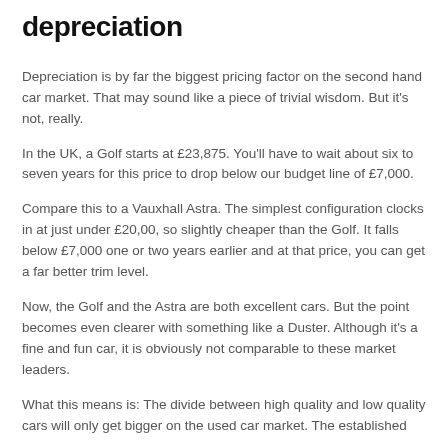depreciation
Depreciation is by far the biggest pricing factor on the second hand car market. That may sound like a piece of trivial wisdom. But it's not, really.
In the UK, a Golf starts at £23,875. You'll have to wait about six to seven years for this price to drop below our budget line of £7,000.
Compare this to a Vauxhall Astra. The simplest configuration clocks in at just under £20,00, so slightly cheaper than the Golf. It falls below £7,000 one or two years earlier and at that price, you can get a far better trim level.
Now, the Golf and the Astra are both excellent cars. But the point becomes even clearer with something like a Duster. Although it's a fine and fun car, it is obviously not comparable to these market leaders.
What this means is: The divide between high quality and low quality cars will only get bigger on the used car market. The established